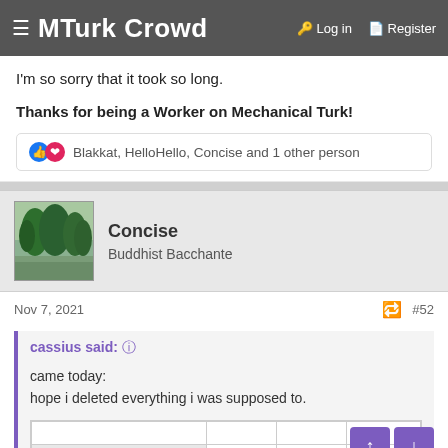≡ MTurk Crowd   Log in   Register
I'm so sorry that it took so long.
Thanks for being a Worker on Mechanical Turk!
Blakkat, HelloHello, Concise and 1 other person
Concise
Buddhist Bacchante
Nov 7, 2021   #52
cassius said: ↑

came today:
hope i deleted everything i was supposed to.